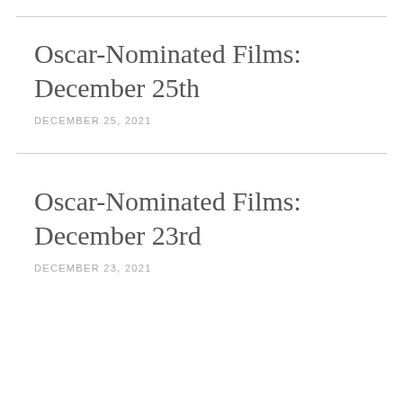Oscar-Nominated Films: December 25th
DECEMBER 25, 2021
Oscar-Nominated Films: December 23rd
DECEMBER 23, 2021